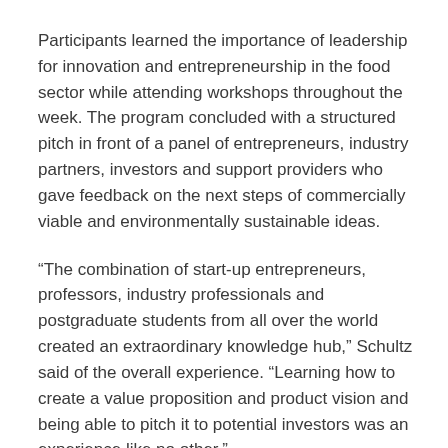Participants learned the importance of leadership for innovation and entrepreneurship in the food sector while attending workshops throughout the week. The program concluded with a structured pitch in front of a panel of entrepreneurs, industry partners, investors and support providers who gave feedback on the next steps of commercially viable and environmentally sustainable ideas.
“The combination of start-up entrepreneurs, professors, industry professionals and postgraduate students from all over the world created an extraordinary knowledge hub,” Schultz said of the overall experience. “Learning how to create a value proposition and product vision and being able to pitch it to potential investors was an experience like no other.”